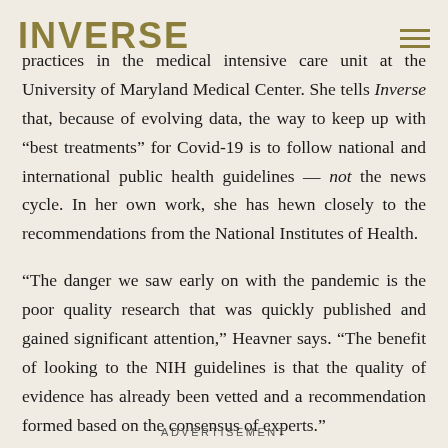INVERSE
practices in the medical intensive care unit at the University of Maryland Medical Center. She tells Inverse that, because of evolving data, the way to keep up with “best treatments” for Covid-19 is to follow national and international public health guidelines — not the news cycle. In her own work, she has hewn closely to the recommendations from the National Institutes of Health.
“The danger we saw early on with the pandemic is the poor quality research that was quickly published and gained significant attention,” Heavner says. “The benefit of looking to the NIH guidelines is that the quality of evidence has already been vetted and a recommendation formed based on the consensus of experts.”
ADVERTISEMENT